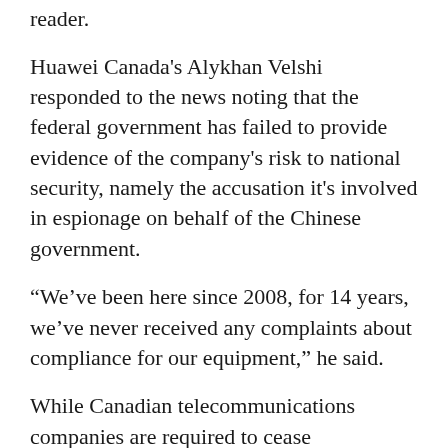reader.
Huawei Canada's Alykhan Velshi responded to the news noting that the federal government has failed to provide evidence of the company's risk to national security, namely the accusation it's involved in espionage on behalf of the Chinese government.
“We’ve been here since 2008, for 14 years, we’ve never received any complaints about compliance for our equipment,” he said.
While Canadian telecommunications companies are required to cease procurement of new 4G or 5G technology from Huawei and ZTE by Sept. 2022, they’ve been given until June 2024 to remove or terminate 5G technology, and until Dec. 2027 to remove or terminate 4G...